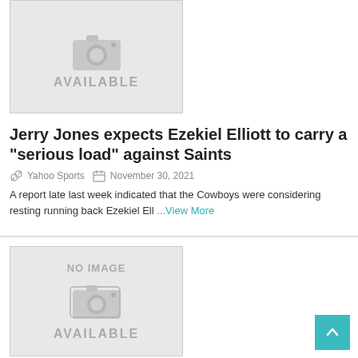[Figure (photo): Placeholder image with camera icon and text 'AVAILABLE']
Jerry Jones expects Ezekiel Elliott to carry a “serious load” against Saints
Yahoo Sports   November 30, 2021
A report late last week indicated that the Cowboys were considering resting running back Ezekiel Ell ...View More
[Figure (photo): Placeholder image with camera icon, 'NO IMAGE' text, and 'AVAILABLE' text below]